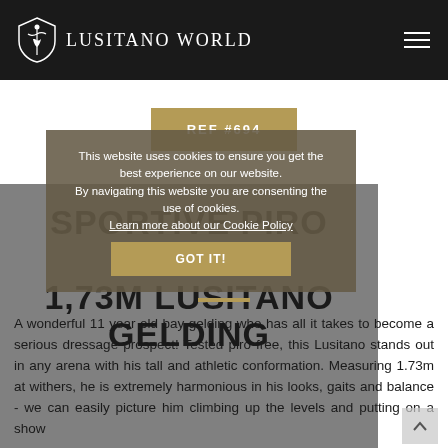Lusitano World
REF #694
SPORTIVE PIRO FREE 1,73M LUSITANO GELDING
A wonderful 11 year old bay gelding who has all it takes to become a serious dressage prospect! Tested piro free, this Lusitano stands out in any arena with his tall and athletic conformation. Measuring 1.73m at withers, he is extremely harmonious in his looks, gaits and balance - we can easily picture him climbing up the levels and putting on a show
This website uses cookies to ensure you get the best experience on our website. By navigating this website you are consenting the use of cookies. Learn more about our Cookie Policy. GOT IT!